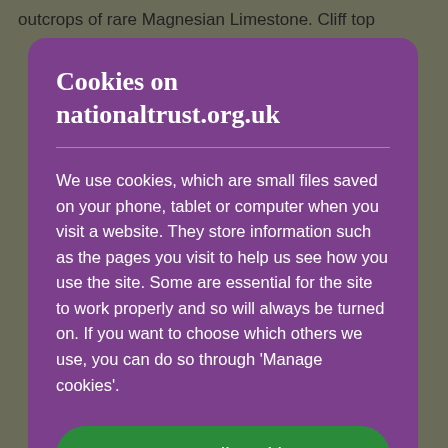outcrops of rare Magnesian Limestone. Cliff top
Cookies on nationaltrust.org.uk
We use cookies, which are small files saved on your phone, tablet or computer when you visit a website. They store information such as the pages you visit to help us see how you use the site. Some are essential for the site to work properly and so will always be turned on. If you want to choose which others we use, you can do so through 'Manage cookies'.
Accept all cookies
Manage cookies